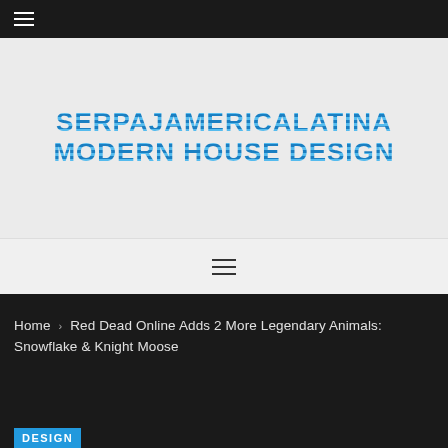☰ (hamburger menu icon)
[Figure (logo): SERPAJAMERICALATINA MODERN HOUSE DESIGN logo in bold blue striped lettering on light gray background]
[Figure (other): Hamburger menu icon (three horizontal lines) on light gray bar]
Home › Red Dead Online Adds 2 More Legendary Animals: Snowflake & Knight Moose
DESIGN